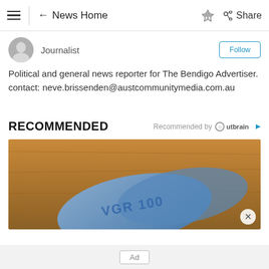≡  ← News Home  🔔  Share
Journalist
Political and general news reporter for The Bendigo Advertiser. contact: neve.brissenden@austcommunitymedia.com.au
RECOMMENDED
Recommended by Outbrain
[Figure (photo): Close-up photo of blue Viagra (VGR 100) pills on a wooden surface]
Ad